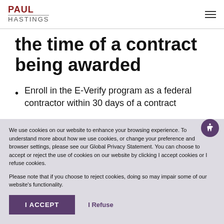PAUL HASTINGS
the time of a contract being awarded
Enroll in the E-Verify program as a federal contractor within 30 days of a contract
We use cookies on our website to enhance your browsing experience. To understand more about how we use cookies, or change your preference and browser settings, please see our Global Privacy Statement. You can choose to accept or reject the use of cookies on our website by clicking I accept cookies or I refuse cookies.
Please note that if you choose to reject cookies, doing so may impair some of our website's functionality.